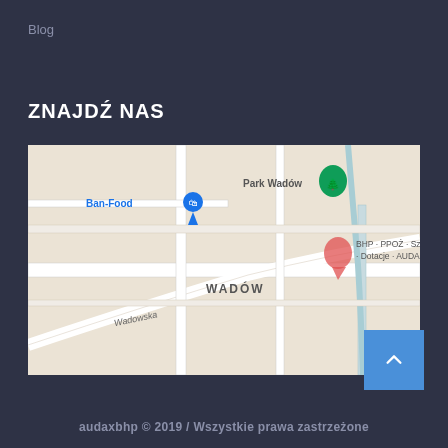Blog
ZNAJDŹ NAS
[Figure (map): Google Maps screenshot showing Wadów area with streets including Wadowska, location markers for Ban-Food, Park Wadów, and BHP - PPOŻ - Szkolenia - Dotacje - AUDAX... A red pin marks the business location in Wadów.]
audaxbhp © 2019 / Wszystkie prawa zastrzeżone